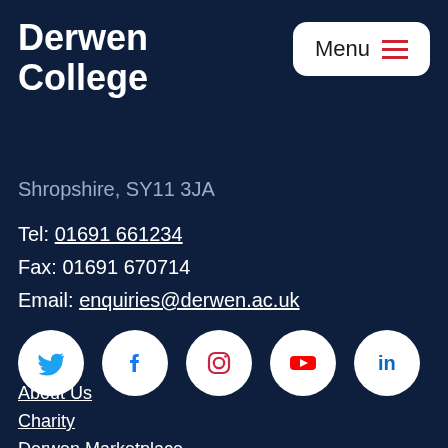Derwen College
Shropshire, SY11 3JA
Tel: 01691 661234
Fax: 01691 670714
Email: enquiries@derwen.ac.uk
[Figure (infographic): Five social media icon circles: Twitter (blue bird), Facebook (blue f), Instagram (gradient camera outline), YouTube (red play button), LinkedIn (blue in)]
About Us
Charity
Derwen Marketplace
Information for Parents & Professionals